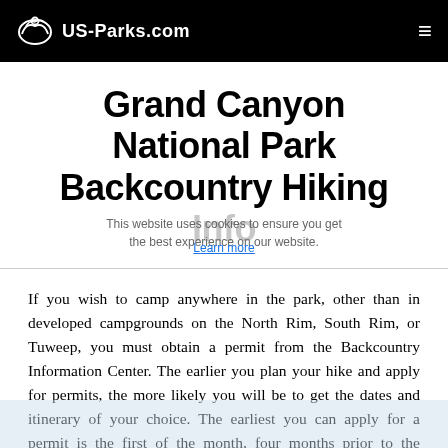US-Parks.com
Grand Canyon National Park Backcountry Hiking Info
If you wish to camp anywhere in the park, other than in developed campgrounds on the North Rim, South Rim, or Tuweep, you must obtain a permit from the Backcountry Information Center. The earlier you plan your hike and apply for permits, the more likely you will be to get the dates and itinerary of your choice. The earliest you can apply for a permit is the first of the month, four months prior to the proposed start